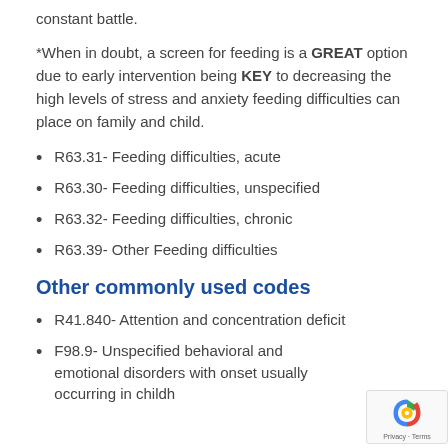constant battle.
*When in doubt, a screen for feeding is a GREAT option due to early intervention being KEY to decreasing the high levels of stress and anxiety feeding difficulties can place on family and child.
R63.31- Feeding difficulties, acute
R63.30- Feeding difficulties, unspecified
R63.32- Feeding difficulties, chronic
R63.39- Other Feeding difficulties
Other commonly used codes
R41.840- Attention and concentration deficit
F98.9- Unspecified behavioral and emotional disorders with onset usually occurring in childh…